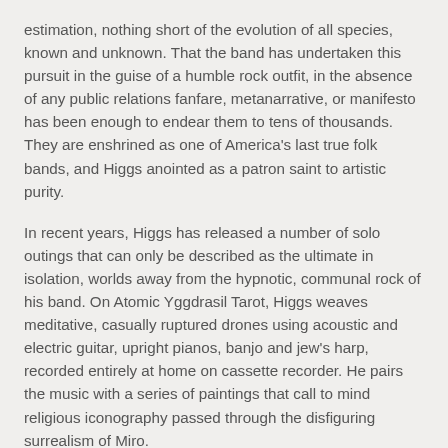estimation, nothing short of the evolution of all species, known and unknown. That the band has undertaken this pursuit in the guise of a humble rock outfit, in the absence of any public relations fanfare, metanarrative, or manifesto has been enough to endear them to tens of thousands. They are enshrined as one of America's last true folk bands, and Higgs anointed as a patron saint to artistic purity.
In recent years, Higgs has released a number of solo outings that can only be described as the ultimate in isolation, worlds away from the hypnotic, communal rock of his band. On Atomic Yggdrasil Tarot, Higgs weaves meditative, casually ruptured drones using acoustic and electric guitar, upright pianos, banjo and jew's harp, recorded entirely at home on cassette recorder. He pairs the music with a series of paintings that call to mind religious iconography passed through the disfiguring surrealism of Miro.